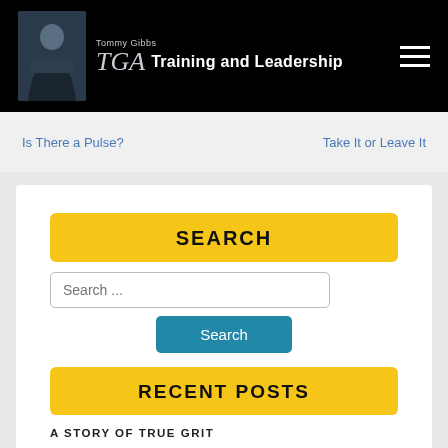Tommy Gibbs Training and Leadership
Is There a Pulse?
Take It or Leave It
SEARCH
Search ...
Search
RECENT POSTS
A STORY OF TRUE GRIT